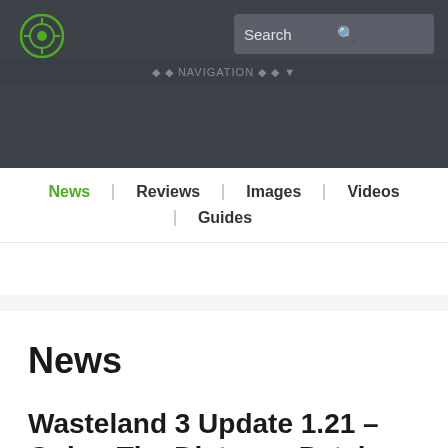Search
News | Reviews | Images | Videos | Guides
News
Wasteland 3 Update 1.21 – Going The Distance Patch Notes 1.5.0